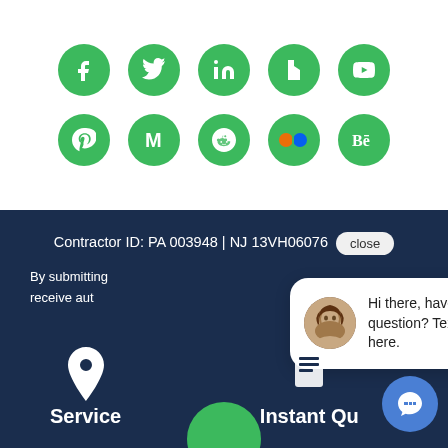[Figure (illustration): Two rows of green circular social media icons: Row 1: Facebook, Twitter, LinkedIn, Houzz, YouTube. Row 2: Pinterest, Medium, Reddit, Flickr, Behance.]
Contractor ID: PA 003948 | NJ 13VH06076   close
By submitting... receive aut...
[Figure (screenshot): Chat bubble popup with avatar photo of a woman and text: Hi there, have a question? Text us here.]
Service
Instant Qu...